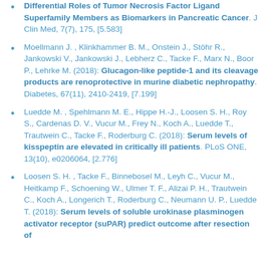Differential Roles of Tumor Necrosis Factor Ligand Superfamily Members as Biomarkers in Pancreatic Cancer. J Clin Med, 7(7), 175, [5.583]
Moellmann J. , Klinkhammer B. M., Onstein J., Stöhr R., Jankowski V., Jankowski J., Lebherz C., Tacke F., Marx N., Boor P., Lehrke M. (2018): Glucagon-like peptide-1 and its cleavage products are renoprotective in murine diabetic nephropathy. Diabetes, 67(11), 2410-2419, [7.199]
Luedde M. , Spehlmann M. E., Hippe H.-J., Loosen S. H., Roy S., Cardenas D. V., Vucur M., Frey N., Koch A., Luedde T., Trautwein C., Tacke F., Roderburg C. (2018): Serum levels of kisspeptin are elevated in critically ill patients. PLoS ONE, 13(10), e0206064, [2.776]
Loosen S. H. , Tacke F., Binnebosel M., Leyh C., Vucur M., Heitkamp F., Schoening W., Ulmer T. F., Alizai P. H., Trautwein C., Koch A., Longerich T., Roderburg C., Neumann U. P., Luedde T. (2018): Serum levels of soluble urokinase plasminogen activator receptor (suPAR) predict outcome after resection of